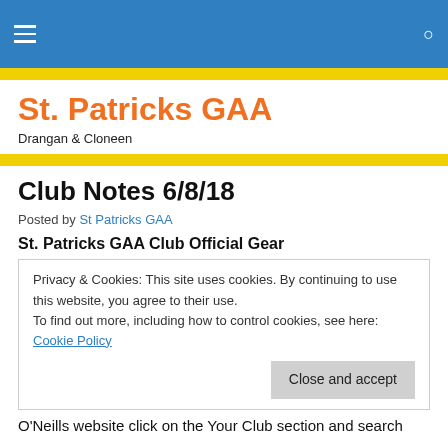Navigation bar with hamburger menu and search icon
St. Patricks GAA
Drangan & Cloneen
Club Notes 6/8/18
Posted by St Patricks GAA
St. Patricks GAA Club Official Gear
Privacy & Cookies: This site uses cookies. By continuing to use this website, you agree to their use.
To find out more, including how to control cookies, see here: Cookie Policy
Close and accept
O'Neills website click on the Your Club section and search